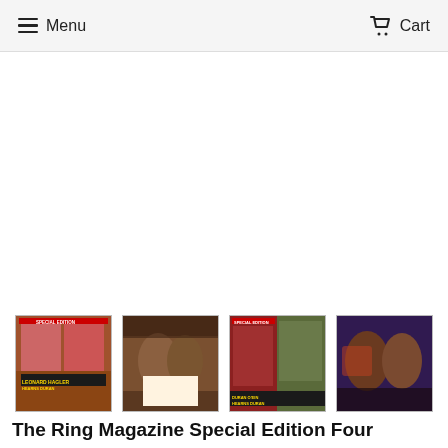Menu  Cart
[Figure (photo): Four thumbnail images of The Ring Magazine Special Edition showing boxing photos — Leonard, Hagler, Hearns, Duran covers and boxing action shots]
The Ring Magazine Special Edition Four